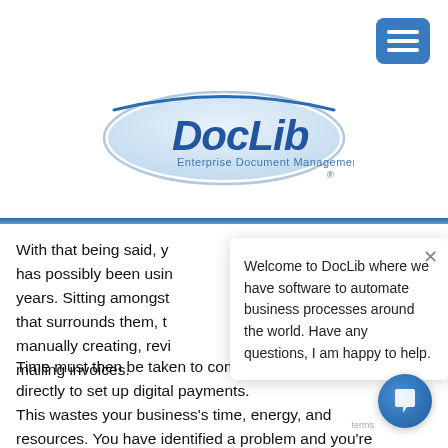[Figure (logo): DocLib Enterprise Document Management logo — blue oval with DocLib text in bold blue italic and 'Enterprise Document Management' tagline below]
[Figure (screenshot): Blue hamburger menu button (three horizontal lines) in top right corner]
With that being said, y... has possibly been usin... years. Sitting amongst... that surrounds them, t... manually creating, revi... mailing invoices.
[Figure (screenshot): Chat popup overlay with text: 'Welcome to DocLib where we have software to automate business processes around the world. Have any questions, I am happy to help.' with an X close button]
Time must then be taken to communicate with clients directly to set up digital payments.
This wastes your business's time, energy, and resources. You have identified a problem and you're